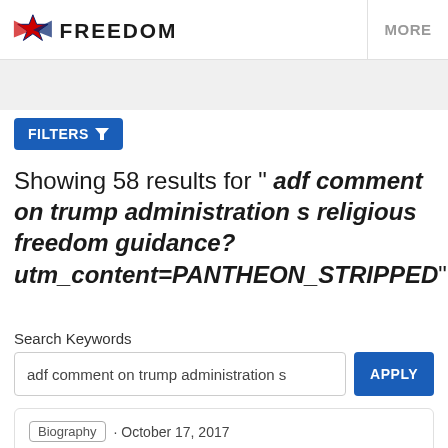FREEDOM | MORE
FILTERS
Showing 58 results for " adf comment on trump administration s religious freedom guidance? utm_content=PANTHEON_STRIPPED"
Search Keywords
adf comment on trump administration s
APPLY
Biography  •  October 17, 2017
ADF Church & Ministry Alliance